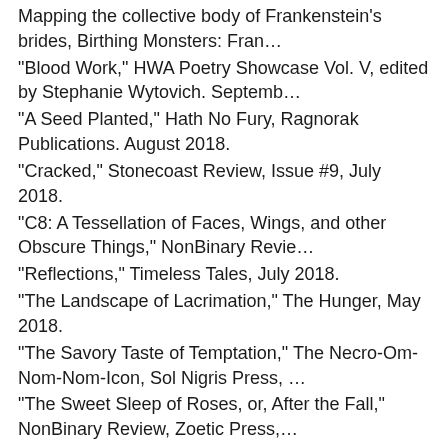Mapping the collective body of Frankenstein's brides, Birthing Monsters: Fran…
"Blood Work," HWA Poetry Showcase Vol. V, edited by Stephanie Wytovich. Septemb…
"A Seed Planted," Hath No Fury, Ragnorak Publications. August 2018.
"Cracked," Stonecoast Review, Issue #9, July 2018.
"C8: A Tessellation of Faces, Wings, and other Obscure Things," NonBinary Revie…
"Reflections," Timeless Tales, July 2018.
"The Landscape of Lacrimation," The Hunger, May 2018.
"The Savory Taste of Temptation," The Necro-Om-Nom-Nom-Icon, Sol Nigris Press, …
"The Sweet Sleep of Roses, or, After the Fall," NonBinary Review, Zoetic Press,…
"The Tales of Hans Christian Andersen," Guest Editor.